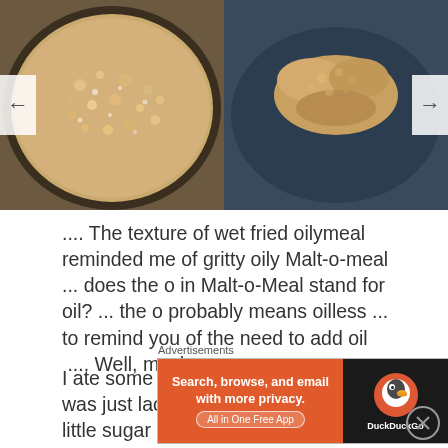[Figure (photo): Two food photos side by side: left photo shows a bowl of wet fried oily meal/cereal close-up; right photo shows a clump of the same food on a dark blue plate.]
.... The texture of wet fried oilymeal reminded me of gritty oily Malt-o-meal ... does the o in Malt-o-Meal stand for oil? ... the o probably means oilless ... to remind you of the need to add oil .... Well, maybe ....
I ate some gritty oily Malt-o-meal .... It was just lacking sugar ... so I added a little sugar .... Wow
Advertisements
[Figure (screenshot): DuckDuckGo advertisement banner: 'Search, browse, and email with more privacy. All in One Free App' with DuckDuckGo logo on dark background.]